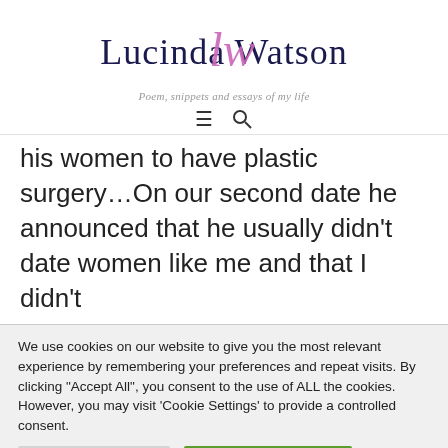[Figure (logo): Lucinda Watson blog logo with stylized purple/pink script overlay on dark navy serif text]
Poem, snippets and essays of my life
≡  🔍
his women to have plastic surgery…On our second date he announced that he usually didn't date women like me and that I didn't
We use cookies on our website to give you the most relevant experience by remembering your preferences and repeat visits. By clicking "Accept All", you consent to the use of ALL the cookies. However, you may visit 'Cookie Settings' to provide a controlled consent.
Cookie Settings
Accept All